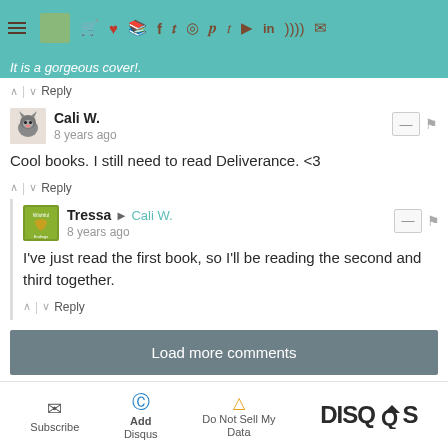[Figure (screenshot): Navigation bar with hamburger menu and social media icons on teal background]
It is a gorgeous cover!.
^ | v Reply
Cali W.
8 years ago
Cool books. I still need to read Deliverance. <3
^ | v Reply
Tressa → Cali W.
8 years ago
I've just read the first book, so I'll be reading the second and third together.
^ | v Reply
Load more comments
Subscribe  Add Disqus  Do Not Sell My Data  DISQUS